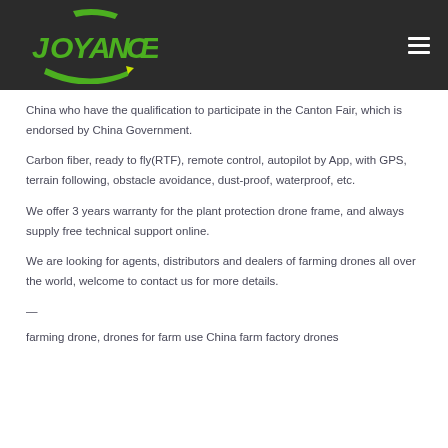[Figure (logo): Joyance company logo in green on dark background header]
China who have the qualification to participate in the Canton Fair, which is endorsed by China Government.
Carbon fiber, ready to fly(RTF), remote control, autopilot by App, with GPS, terrain following, obstacle avoidance, dust-proof, waterproof, etc.
We offer 3 years warranty for the plant protection drone frame, and always supply free technical support online.
We are looking for agents, distributors and dealers of farming drones all over the world, welcome to contact us for more details.
—
farming drone, drones for farm use China farm factory drones